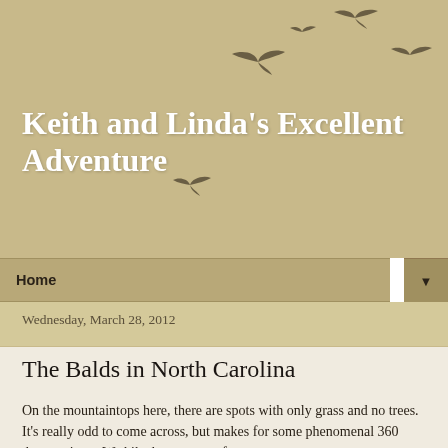Keith and Linda's Excellent Adventure
A blog of our day to day experiences while thru-hiking all 2,181 miles of the Appalachian Trail, from Springer Mountain, Georgia to Mt. Katahdin, Maine. A lifelong dream finally becoming a reality - we begin hiking March 14, 2012, and hope to finish in early September.
Home ▼
Wednesday, March 28, 2012
The Balds in North Carolina
On the mountaintops here, there are spots with only grass and no trees. It's really odd to come across, but makes for some phenomenal 360 degree views. We hiked up to two of